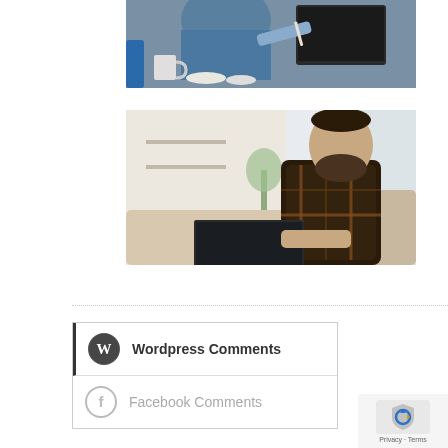[Figure (photo): A man in a blue shirt sitting at a desk with a laptop, holding a thermometer, appearing sick, with crumpled papers and a mug on the desk.]
[Figure (photo): A bearded man in a plaid shirt sitting on a couch using a laptop in a bright room.]
Wordpress Comments
Facebook Comments